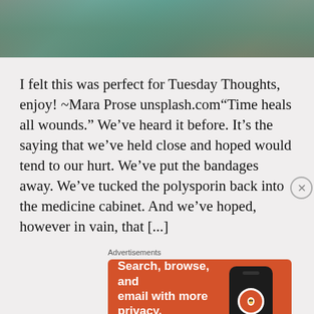[Figure (photo): Partial photo of a person wearing a teal/turquoise top and jeans, cropped to show torso area, with outdoor background]
I felt this was perfect for Tuesday Thoughts, enjoy! ~Mara Prose unsplash.com“Time heals all wounds.” We’ve heard it before. It’s the saying that we’ve held close and hoped would tend to our hurt. We’ve put the bandages away. We’ve tucked the polysporin back into the medicine cabinet. And we’ve hoped, however in vain, that [...]
Advertisements
[Figure (screenshot): DuckDuckGo advertisement banner with orange background. Text reads: Search, browse, and email with more privacy. All in One Free App. Shows a phone with DuckDuckGo logo.]